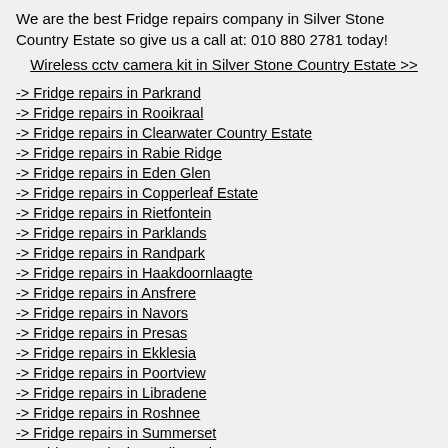We are the best Fridge repairs company in Silver Stone Country Estate so give us a call at: 010 880 2781 today!
Wireless cctv camera kit in Silver Stone Country Estate >>
-> Fridge repairs in Parkrand
-> Fridge repairs in Rooikraal
-> Fridge repairs in Clearwater Country Estate
-> Fridge repairs in Rabie Ridge
-> Fridge repairs in Eden Glen
-> Fridge repairs in Copperleaf Estate
-> Fridge repairs in Rietfontein
-> Fridge repairs in Parklands
-> Fridge repairs in Randpark
-> Fridge repairs in Haakdoornlaagte
-> Fridge repairs in Ansfrere
-> Fridge repairs in Navors
-> Fridge repairs in Presas
-> Fridge repairs in Ekklesia
-> Fridge repairs in Poortview
-> Fridge repairs in Libradene
-> Fridge repairs in Roshnee
-> Fridge repairs in Summerset
-> Fridge repairs in Stadium View
-> Fridge repairs in Tamara Park
-> Fridge repairs in Turffontein